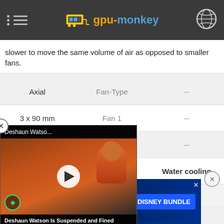gpu-monkey
slower to move the same volume of air as opposed to smaller fans.
| Value | Property | Value2 |
| --- | --- | --- |
| Axial | Fan-Type | -- |
| 3 x 90 mm | Fan 1 | -- |
|  | Fan 2 | -- |
|  | Cooler-Type | Water cooling |
| 0 dB | Noise (idle) | 0 dB |
[Figure (screenshot): Video popup overlay showing Deshaun Watson news story with play button and caption 'Deshaun Watson Is Suspended and Fined After Settlement Between NFL, NFLPA']
[Figure (screenshot): Disney Bundle advertisement banner showing Hulu, Disney+, ESPN+ logos with 'GET THE DISNEY BUNDLE' CTA button]